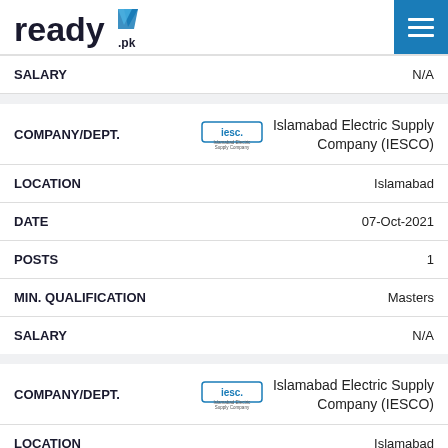ready.pk
| Field | Value |
| --- | --- |
| SALARY | N/A |
| Field | Value |
| --- | --- |
| COMPANY/DEPT. | Islamabad Electric Supply Company (IESCO) |
| LOCATION | Islamabad |
| DATE | 07-Oct-2021 |
| POSTS | 1 |
| MIN. QUALIFICATION | Masters |
| SALARY | N/A |
| Field | Value |
| --- | --- |
| COMPANY/DEPT. | Islamabad Electric Supply Company (IESCO) |
| LOCATION | Islamabad |
| DATE | 04-Oct-2021 |